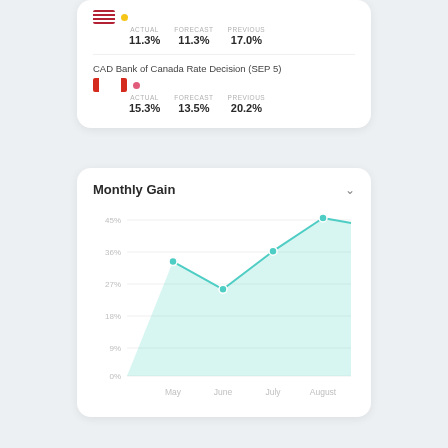ACTUAL 11.3% FORECAST 11.3% PREVIOUS 17.0%
CAD Bank of Canada Rate Decision (SEP 5)
ACTUAL 15.3% FORECAST 13.5% PREVIOUS 20.2%
[Figure (area-chart): Monthly Gain]